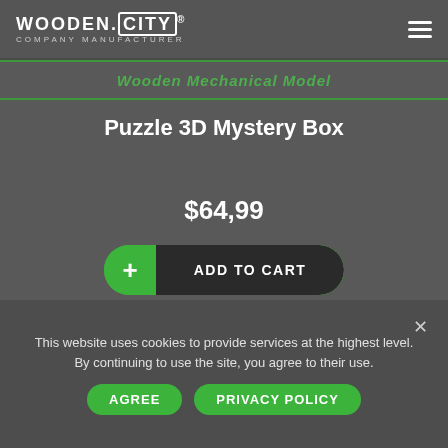WOODEN.CITY® COMPANY MANUFACTURER
Wooden Mechanical Model
Puzzle 3D Mystery Box
$64,99
+ ADD TO CART
This website uses cookies to provide services at the highest level. By continuing to use the site, you agree to their use.
AGREE
PRIVACY POLICY